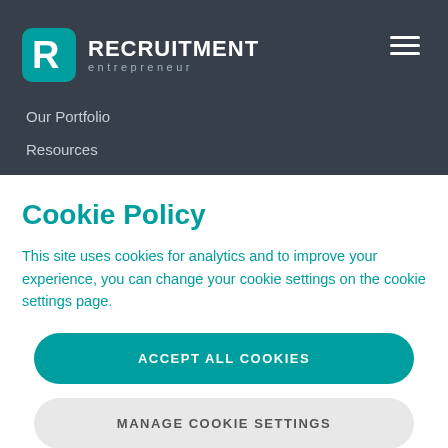[Figure (logo): Recruitment Entrepreneur logo with teal R icon and white bold text RECRUITMENT with light grey 'entrepreneur' below]
[Figure (other): Hamburger menu icon (three white horizontal lines) in top right of dark header]
Our Portfolio
Resources
Contact
Cookie Policy
This site uses cookies for analytics and to improve your experience, you can change your cookie settings on the cookie settings page.
ACCEPT ALL COOKIES
MANAGE COOKIE SETTINGS